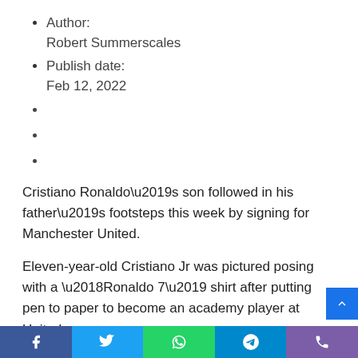Author:
Robert Summerscales
Publish date:
Feb 12, 2022
Cristiano Ronaldo’s son followed in his father’s footsteps this week by signing for Manchester United.
Eleven-year-old Cristiano Jr was pictured posing with a ‘Ronaldo 7’ shirt after putting pen to paper to become an academy player at United.